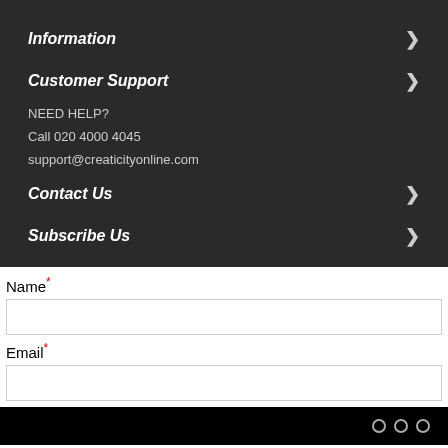Information
Customer Support
NEED HELP?
Call 020 4000 4045
support@creaticityonline.com
Contact Us
Subscribe Us
Name*
Email*